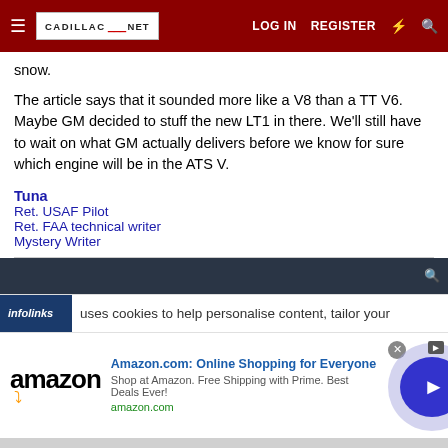CADILLAC-NET | LOG IN | REGISTER
snow.
The article says that it sounded more like a V8 than a TT V6. Maybe GM decided to stuff the new LT1 in there. We'll still have to wait on what GM actually delivers before we know for sure which engine will be in the ATS V.
Tuna
Ret. USAF Pilot
Ret. FAA technical writer
Mystery Writer
[Figure (screenshot): infolinks cookie notice bar reading 'uses cookies to help personalise content, tailor your']
[Figure (screenshot): Amazon advertisement: 'Amazon.com: Online Shopping for Everyone. Shop at Amazon. Free Shipping with Prime. Best Deals Ever!' with amazon logo and play button circle]